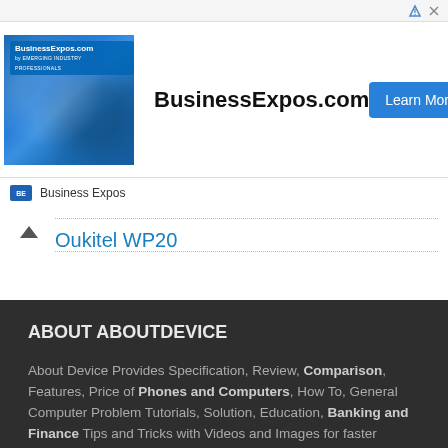[Figure (screenshot): BusinessExpos.com advertisement banner with photo of business expo crowd, bold BusinessExpos.com text, and a blue Learn More button]
Business Expos
Oukitel WP20
ABOUT ABOUTDEVICE
About Device Provides Specification, Review, Comparison, Features, Price of Phones and Computers, How To, General Computer Problem Tutorials, Solution, Education, Banking and Finance Tips and Tricks with Videos and Images for faster understanding